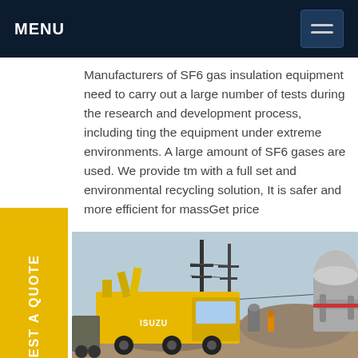MENU
Manufacturers of SF6 gas insulation equipment need to carry out a large number of tests during the research and development process, including testing the equipment under extreme environments. A large amount of SF6 gases are used. We provide them with a full set and environmental recycling solution, It is safer and more efficient for massGet price
[Figure (photo): Yellow Isuzu truck at an electrical substation with high-voltage equipment, power lines and industrial gas handling equipment visible]
REQUEST A QUOTE